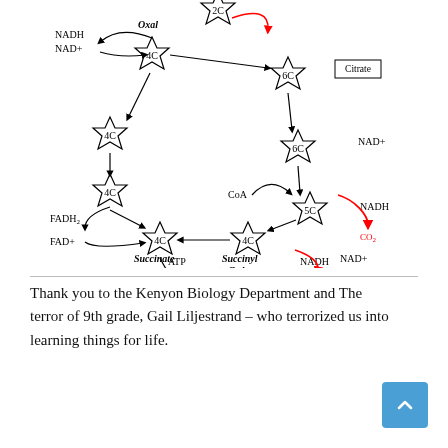[Figure (schematic): Krebs cycle (TCA cycle) diagram showing a circular pathway with star-shaped nodes labeled 2C, 4C (Oxal), 6C (Citrate), 6C, 5C, 4C (Succinyl CoA), 4C (Succinate), 4C. Arrows show the cycle direction. Cofactors NADH, NAD+, FADH2, FAD+, CoA are labeled. CO2 release arrows in red. ATP and ADP+Pi shown at bottom.]
Thank you to the Kenyon Biology Department and The terror of 9th grade, Gail Liljestrand – who terrorized us into learning things for life.